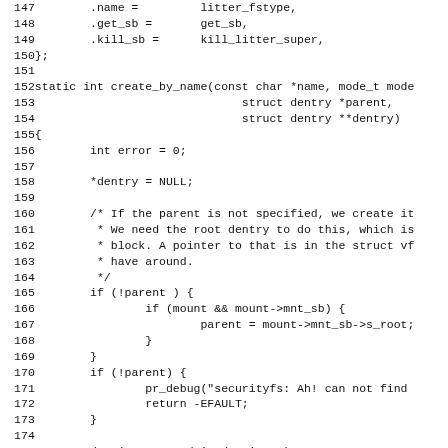Source code listing lines 147-179, C kernel code for securityfs create_by_name function